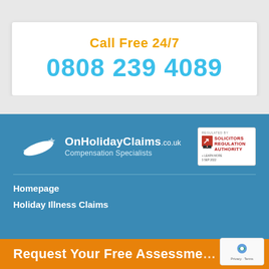Call Free 24/7
0808 239 4089
[Figure (logo): OnHolidayClaims.co.uk logo with airplane icon and text 'Compensation Specialists']
[Figure (logo): Solicitors Regulation Authority badge]
Homepage
Holiday Illness Claims
Request Your Free Assessment